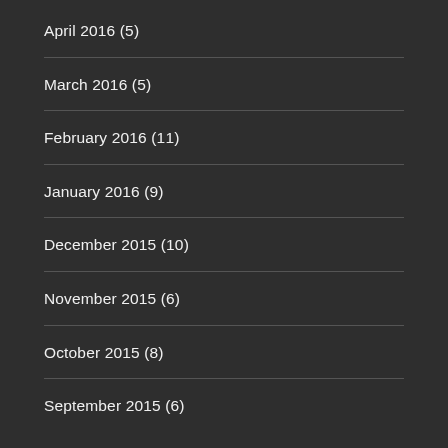April 2016 (5)
March 2016 (5)
February 2016 (11)
January 2016 (9)
December 2015 (10)
November 2015 (6)
October 2015 (8)
September 2015 (6)